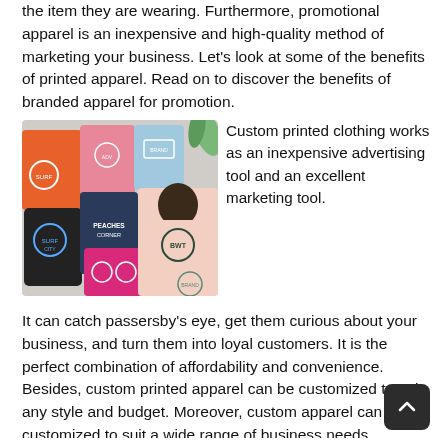the item they are wearing. Furthermore, promotional apparel is an inexpensive and high-quality method of marketing your business. Let's look at some of the benefits of printed apparel. Read on to discover the benefits of branded apparel for promotion.
[Figure (photo): Collage of custom printed t-shirts and hoodies in various colors with branded logos, alongside a person wearing a light pink t-shirt with a circular logo on the back.]
Custom printed clothing works as an inexpensive advertising tool and an excellent marketing tool. It can catch passersby's eye, get them curious about your business, and turn them into loyal customers. It is the perfect combination of affordability and convenience. Besides, custom printed apparel can be customized to suit any style and budget. Moreover, custom apparel can be customized to suit a wide range of business needs. Printed clothes have the power to inspire passersby to take action.